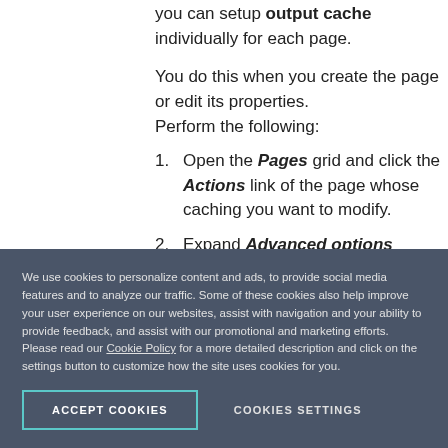you can setup output cache individually for each page.
You do this when you create the page or edit its properties. Perform the following:
Open the Pages grid and click the Actions link of the page whose caching you want to modify.
Expand Advanced options section.
We use cookies to personalize content and ads, to provide social media features and to analyze our traffic. Some of these cookies also help improve your user experience on our websites, assist with navigation and your ability to provide feedback, and assist with our promotional and marketing efforts. Please read our Cookie Policy for a more detailed description and click on the settings button to customize how the site uses cookies for you.